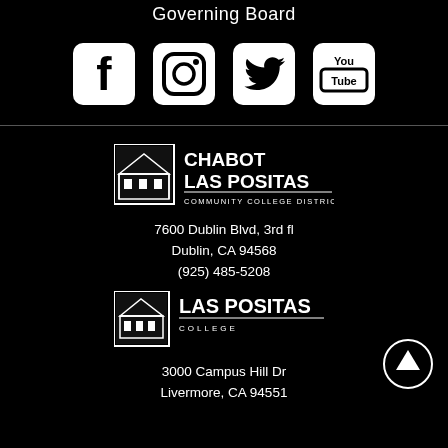Governing Board
[Figure (logo): Social media icons: Facebook, Instagram, Twitter, YouTube]
[Figure (logo): Chabot Las Positas Community College District logo]
7600 Dublin Blvd, 3rd fl
Dublin, CA 94568
(925) 485-5208
[Figure (logo): Las Positas College logo]
3000 Campus Hill Dr
Livermore, CA 94551